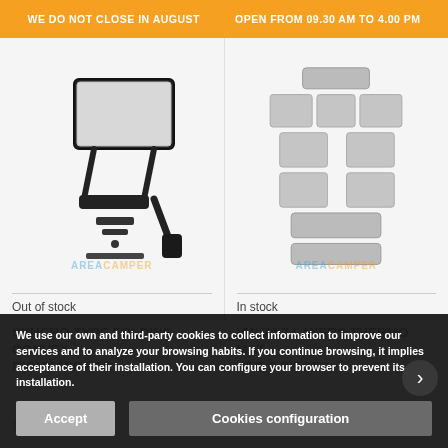WE DO NOT CLOSE IN AUGUST   OPEN FROM 09.30 AM TO 4.00 PM
[Figure (photo): Syncro type folding convex right mirror product photo with mounting hardware on grey background, AREACAMPER watermark]
[Figure (photo): VW T3 7 layers thermo mat set 8 pieces product photo showing grey foam mat panels on grey background, AREACAMPER watermark]
Out of stock
In stock
SYNCRO TYPE FOLDING CONVEX RIGHT MIRROR
VW T3 7 LAYERS THERMO MAT SET, 8 PIECES
We use our own and third-party cookies to collect information to improve our services and to analyze your browsing habits. If you continue browsing, it implies acceptance of their installation. You can configure your browser to prevent its installation.
Accept
Cookies configuration
€151.40
€100.01